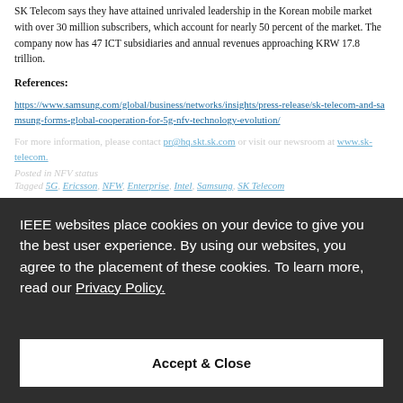SK Telecom says they have attained unrivaled leadership in the Korean mobile market with over 30 million subscribers, which account for nearly 50 percent of the market. The company now has 47 ICT subsidiaries and annual revenues approaching KRW 17.8 trillion.
References:
https://www.samsung.com/global/business/networks/insights/press-release/sk-telecom-and-samsung-forms-global-cooperation-for-5g-nfv-technology-evolution/
For more information, please contact pr@hq.skt.sk.com or visit our newsroom at www.sk-telecom.
Posted in NFV status
Tagged 5G, Ericsson, NFW, Enterprise, Intel, Samsung, SK Telecom
IEEE websites place cookies on your device to give you the best user experience. By using our websites, you agree to the placement of these cookies. To learn more, read our Privacy Policy.
Accept & Close